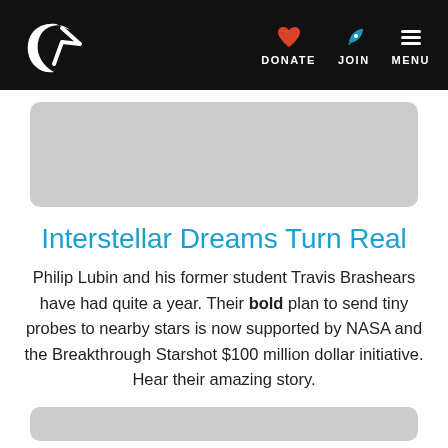Interstellar Alliance navigation: DONATE, JOIN, MENU
[Figure (photo): Gray placeholder image at top of article]
Interstellar Dreams Turn Real
Philip Lubin and his former student Travis Brashears have had quite a year. Their bold plan to send tiny probes to nearby stars is now supported by NASA and the Breakthrough Starshot $100 million dollar initiative. Hear their amazing story.
[Figure (photo): Gray placeholder image at bottom of page]